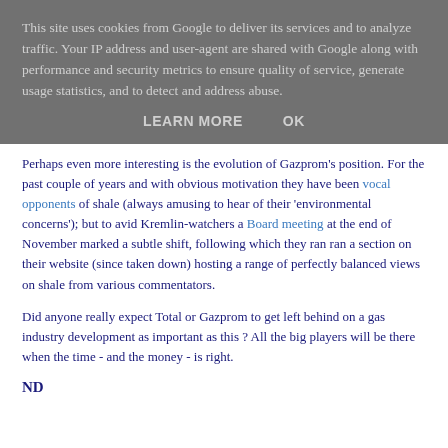This site uses cookies from Google to deliver its services and to analyze traffic. Your IP address and user-agent are shared with Google along with performance and security metrics to ensure quality of service, generate usage statistics, and to detect and address abuse.
LEARN MORE   OK
Perhaps even more interesting is the evolution of Gazprom's position. For the past couple of years and with obvious motivation they have been vocal opponents of shale (always amusing to hear of their 'environmental concerns'); but to avid Kremlin-watchers a Board meeting at the end of November marked a subtle shift, following which they ran ran a section on their website (since taken down) hosting a range of perfectly balanced views on shale from various commentators.
Did anyone really expect Total or Gazprom to get left behind on a gas industry development as important as this ? All the big players will be there when the time - and the money - is right.
ND